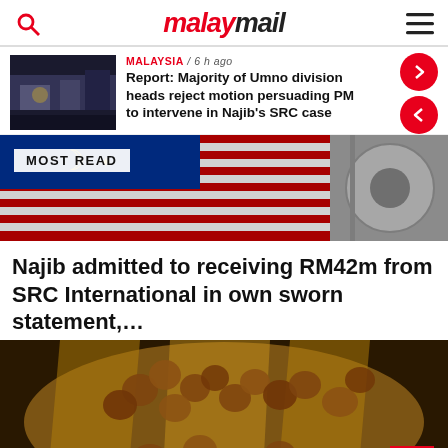malay mail
MALAYSIA / 6 h ago
Report: Majority of Umno division heads reject motion persuading PM to intervene in Najib's SRC case
MOST READ
[Figure (photo): Malaysian flag and industrial reel image used as Most Read banner]
Najib admitted to receiving RM42m from SRC International in own sworn statement,...
[Figure (photo): Close-up of chocolate coins in metallic packaging]